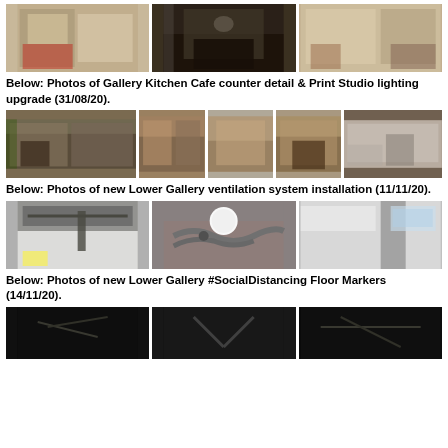[Figure (photo): Three photos of gallery interior spaces]
Below: Photos of Gallery Kitchen Cafe counter detail & Print Studio lighting upgrade (31/08/20).
[Figure (photo): Five photos of Gallery Kitchen Cafe counter detail and Print Studio lighting upgrade]
Below: Photos of new Lower Gallery ventilation system installation (11/11/20).
[Figure (photo): Three photos of new Lower Gallery ventilation system installation]
Below: Photos of new Lower Gallery #SocialDistancing Floor Markers (14/11/20).
[Figure (photo): Three dark photos of Lower Gallery floor markers (partially visible)]